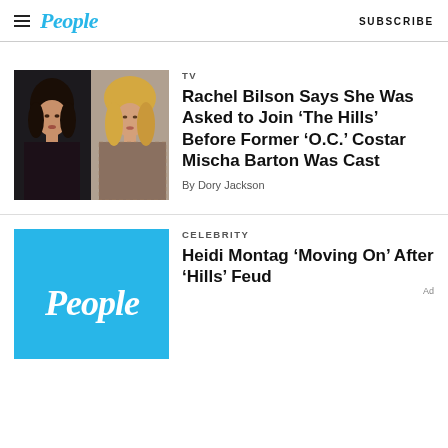People | SUBSCRIBE
[Figure (photo): Two women side by side: dark-haired woman in black outfit on left, blonde woman in patterned dress on right]
TV
Rachel Bilson Says She Was Asked to Join ‘The Hills’ Before Former ‘O.C.’ Costar Mischa Barton Was Cast
By Dory Jackson
[Figure (logo): People magazine logo on blue background]
CELEBRITY
Heidi Montag ‘Moving On’ After ‘Hills’ Feud